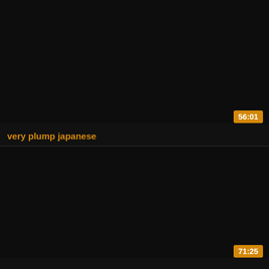[Figure (screenshot): Dark video thumbnail placeholder for first video card]
56:01
very plump japanese
[Figure (screenshot): Dark video thumbnail placeholder for second video card]
71:25